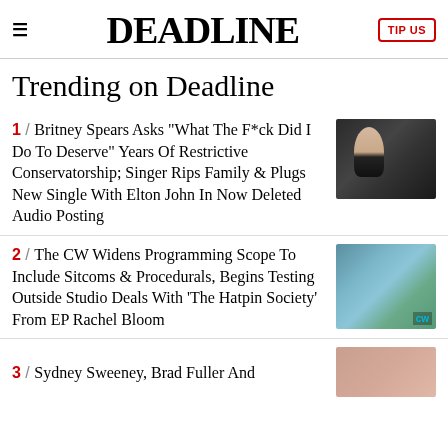DEADLINE
Trending on Deadline
1 / Britney Spears Asks "What The F*ck Did I Do To Deserve" Years Of Restrictive Conservatorship; Singer Rips Family & Plugs New Single With Elton John In Now Deleted Audio Posting
2 / The CW Widens Programming Scope To Include Sitcoms & Procedurals, Begins Testing Outside Studio Deals With 'The Hatpin Society' From EP Rachel Bloom
3 / Sydney Sweeney, Brad Fuller And